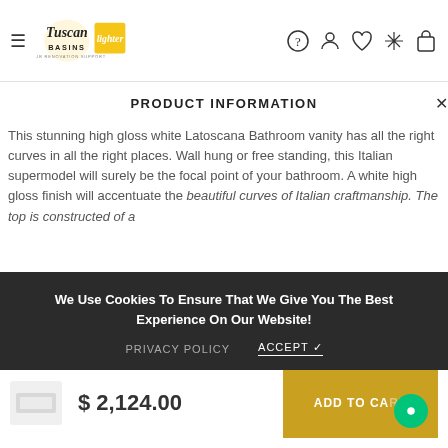Tuscan Basins — navigation header with logo and icons
PRODUCT INFORMATION
This stunning high gloss white Latoscana Bathroom vanity has all the right curves in all the right places. Wall hung or free standing, this Italian supermodel will surely be the focal point of your bathroom. A white high gloss finish will accentuate the beautiful curves of Italian craftmanship. The top is constructed of a...
We Use Cookies To Ensure That We Give You The Best Experience On Our Website!
PRIVACY POLICY   ACCEPT ✓
Model OA48OPT2W
Oasi 48" Vanity
$ 2,124.00   ADD TO CART